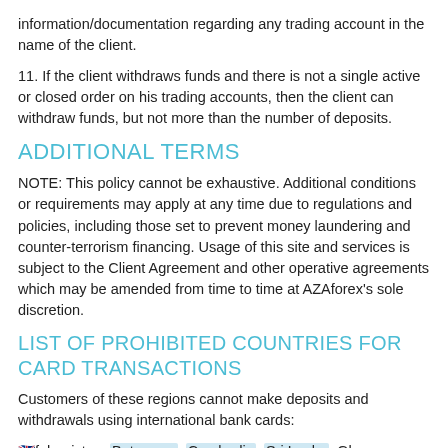information/documentation regarding any trading account in the name of the client.
11. If the client withdraws funds and there is not a single active or closed order on his trading accounts, then the client can withdraw funds, but not more than the number of deposits.
ADDITIONAL TERMS
NOTE: This policy cannot be exhaustive. Additional conditions or requirements may apply at any time due to regulations and policies, including those set to prevent money laundering and counter-terrorism financing. Usage of this site and services is subject to the Client Agreement and other operative agreements which may be amended from time to time at AZAforex's sole discretion.
LIST OF PROHIBITED COUNTRIES FOR CARD TRANSACTIONS
Customers of these regions cannot make deposits and withdrawals using international bank cards:
🇬🇧fghanistan, Botswana, Cambodia, Sri Lanka, Ghana, Ethiopia, ...